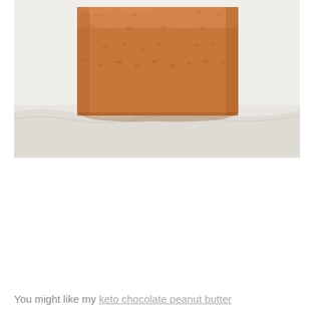[Figure (photo): Close-up photo of a rectangular slice of peanut butter fudge or dense cake bar placed on white crinkled parchment paper. The bar is golden-orange/tan in color with a slightly rough, dense texture on top and sides.]
You might like my keto chocolate peanut butter